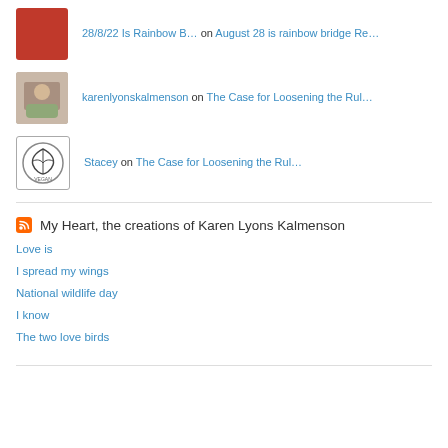28/8/22 Is Rainbow B… on August 28 is rainbow bridge Re…
karenlyonskalmenson on The Case for Loosening the Rul…
Stacey on The Case for Loosening the Rul…
My Heart, the creations of Karen Lyons Kalmenson
Love is
I spread my wings
National wildlife day
I know
The two love birds